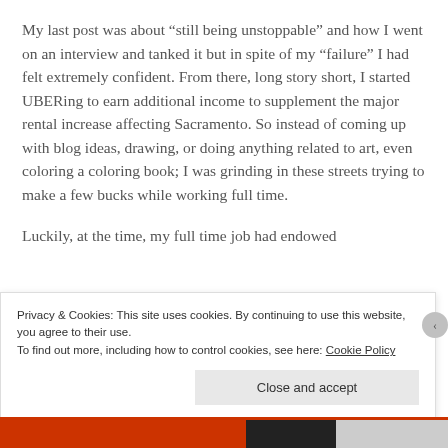My last post was about “still being unstoppable” and how I went on an interview and tanked it but in spite of my “failure” I had felt extremely confident. From there, long story short, I started UBERing to earn additional income to supplement the major rental increase affecting Sacramento. So instead of coming up with blog ideas, drawing, or doing anything related to art, even coloring a coloring book; I was grinding in these streets trying to make a few bucks while working full time.
Luckily, at the time, my full time job had endowed
Privacy & Cookies: This site uses cookies. By continuing to use this website, you agree to their use.
To find out more, including how to control cookies, see here: Cookie Policy
Close and accept